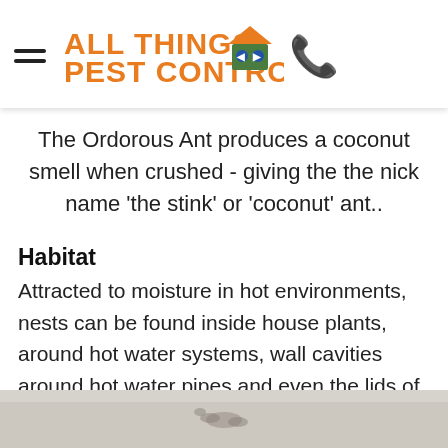All Things Pest Control
The Ordorous Ant produces a coconut smell when crushed - giving the the nick name 'the stink' or 'coconut' ant..
Habitat
Attracted to moisture in hot environments, nests can be found inside house plants, around hot water systems, wall cavities around hot water pipes and even the lids of toilets. These ants most commonly invade buildings in late winter and early spring (particularly after rain).
[Figure (photo): Close-up photo of ants, partially visible at the bottom of the page]